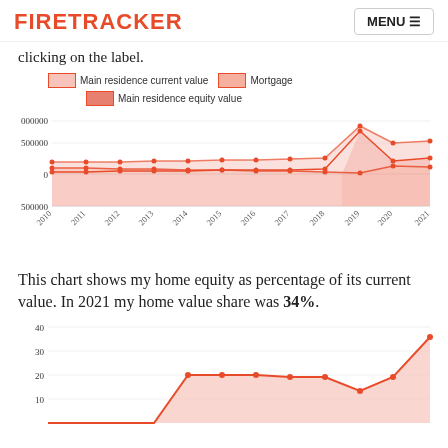FIRETRACKER  MENU
clicking on the label.
[Figure (line-chart): ]
This chart shows my home equity as percentage of its current value. In 2021 my home value share was 34%.
[Figure (area-chart): ]